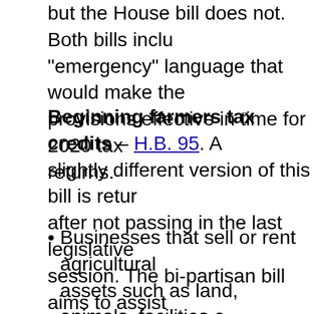but the House bill does not. Both bills include "emergency" language that would make the provisions effective in time for 2020 tax returns.
Beginning farmers tax credits – H.B. 95. A slightly different version of this bill is returning after not passing in the last legislative session. The bi-partisan bill aims to assist beginning farmers through several temporary income tax credits:
Businesses that sell or rent agricultural assets such as land, animals, facilities or equipment to certified beginning farmers may receive a 5% income tax credit for